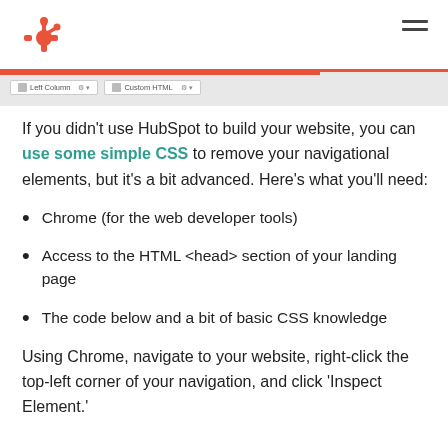HubSpot logo and navigation
[Figure (screenshot): HubSpot page editor screenshot showing Left Column and Custom HTML module tabs with an orange progress bar]
If you didn't use HubSpot to build your website, you can use some simple CSS to remove your navigational elements, but it's a bit advanced. Here's what you'll need:
Chrome (for the web developer tools)
Access to the HTML <head> section of your landing page
The code below and a bit of basic CSS knowledge
Using Chrome, navigate to your website, right-click the top-left corner of your navigation, and click 'Inspect Element.'